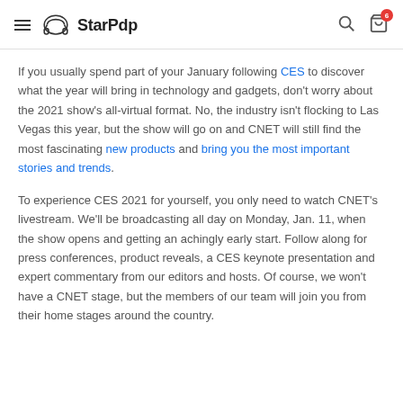StarPdp
If you usually spend part of your January following CES to discover what the year will bring in technology and gadgets, don't worry about the 2021 show's all-virtual format. No, the industry isn't flocking to Las Vegas this year, but the show will go on and CNET will still find the most fascinating new products and bring you the most important stories and trends.
To experience CES 2021 for yourself, you only need to watch CNET's livestream. We'll be broadcasting all day on Monday, Jan. 11, when the show opens and getting an achingly early start. Follow along for press conferences, product reveals, a CES keynote presentation and expert commentary from our editors and hosts. Of course, we won't have a CNET stage, but the members of our team will join you from their home stages around the country.